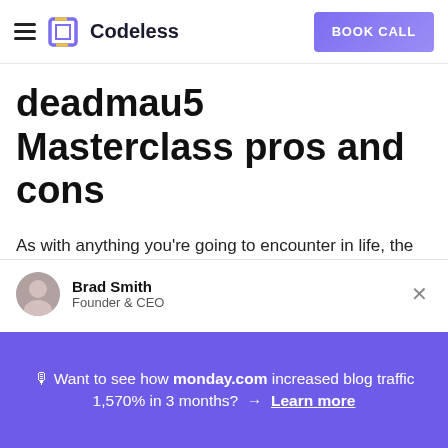Codeless — BOOK CALL
deadmau5 Masterclass pros and cons
As with anything you're going to encounter in life, the deadmau5 MasterClass has its good and bad qualities.
Brad Smith
Founder & CEO
🎙 Want to see how monday.com increased blog traffic 1,570% in 3 months? → Learn more